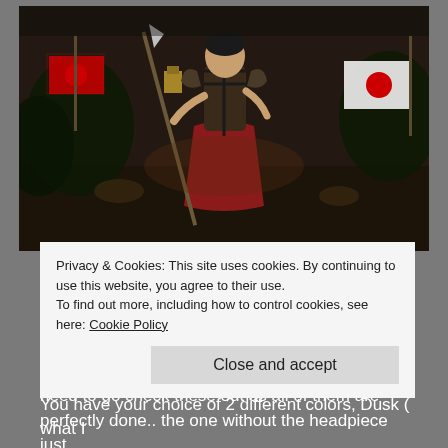[Figure (screenshot): Dark video game screenshot of a warrior character in samurai-style armor holding a spear/staff, wearing a red skirt-like garment, with Japanese rising sun flags visible in the background. Dark moody atmosphere with garden/temple setting.]
I am also wearing one of the masks from [ContraptioN]. The Mata Ketiga fits perfect under the hood and looks awesome!..there are two masks in the collection I am wearing the Mata without the headpiece attached. Ya really need to go check these out as all of them are perfectly done.. the one without the headpiece just
Privacy & Cookies: This site uses cookies. By continuing to use this website, you agree to their use.
To find out more, including how to control cookies, see here: Cookie Policy
Close and accept
You have your choice of 2 different colors, Dusk ( what I